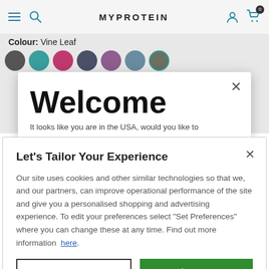MYPROTEIN
Colour: Vine Leaf
[Figure (screenshot): Row of circular colour swatches: dark grey, teal, pink/magenta, dark grey-blue, mauve/purple, slate blue, dark olive/vine leaf (selected with teal ring)]
Welcome
It looks like you are in the USA, would you like to
Let's Tailor Your Experience
Our site uses cookies and other similar technologies so that we, and our partners, can improve operational performance of the site and give you a personalised shopping and advertising experience. To edit your preferences select "Set Preferences" where you can change these at any time. Find out more information here.
Set Preferences
That's OK